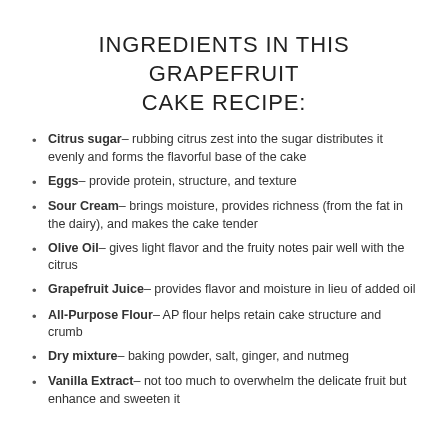INGREDIENTS IN THIS GRAPEFRUIT CAKE RECIPE:
Citrus sugar– rubbing citrus zest into the sugar distributes it evenly and forms the flavorful base of the cake
Eggs– provide protein, structure, and texture
Sour Cream– brings moisture, provides richness (from the fat in the dairy), and makes the cake tender
Olive Oil– gives light flavor and the fruity notes pair well with the citrus
Grapefruit Juice– provides flavor and moisture in lieu of added oil
All-Purpose Flour– AP flour helps retain cake structure and crumb
Dry mixture– baking powder, salt, ginger, and nutmeg
Vanilla Extract– not too much to overwhelm the delicate fruit but enhance and sweeten it